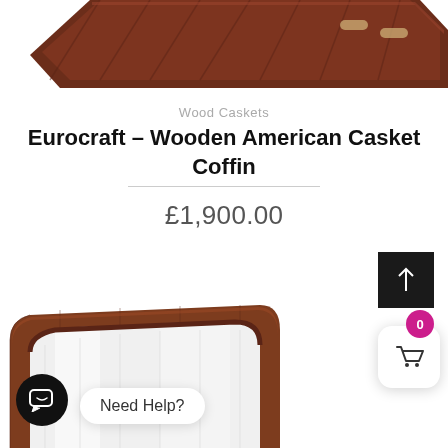[Figure (photo): Top portion of a dark mahogany wooden casket/coffin shown from above, cropped at top of page]
Wood Caskets
Eurocraft – Wooden American Casket Coffin
£1,900.00
[Figure (screenshot): Scroll-to-top button (dark square with upward arrow), cart badge showing 0, white cart button with basket icon, chat icon (black circle with message icon), and Need Help? tooltip bubble]
[Figure (photo): Bottom portion showing open casket with white satin lining interior, dark wood exterior, shown from an angle]